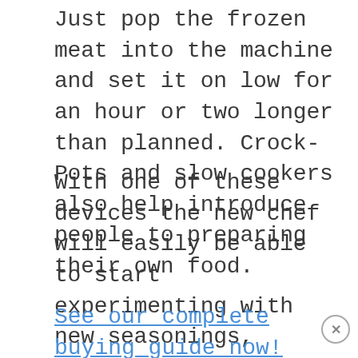Just pop the frozen meat into the machine and set it on low for an hour or two longer than planned. Crock-Pots and slow cookers also help introduce people to preparing their own food.
With one of these devices the new chef will easily be able to start experimenting with new seasonings, sauces, and so on, and might even start to love cooking.
See our complete buying guide now!